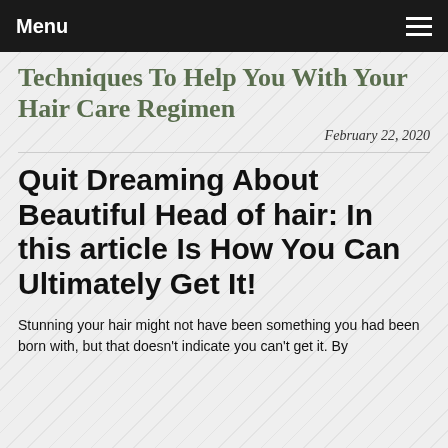Menu
Techniques To Help You With Your Hair Care Regimen
February 22, 2020
Quit Dreaming About Beautiful Head of hair: In this article Is How You Can Ultimately Get It!
Stunning your hair might not have been something you had been born with, but that doesn't indicate you can't get it. By